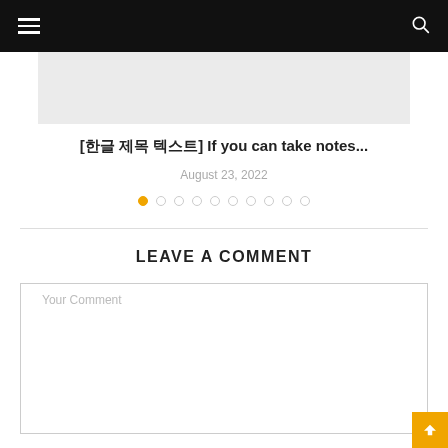[Figure (other): Gray placeholder image/banner box]
[한글 제목 텍스트] If you can take notes...
August 23, 2022
[Figure (other): Pagination dots row: 10 dots, first dot filled orange, rest empty circles]
LEAVE A COMMENT
Your Comment